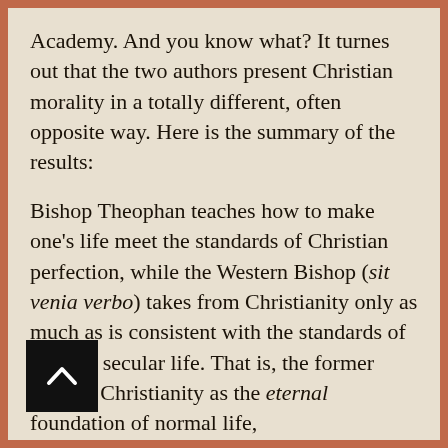Academy. And you know what? It turnes out that the two authors present Christian morality in a totally different, often opposite way. Here is the summary of the results:
Bishop Theophan teaches how to make one's life meet the standards of Christian perfection, while the Western Bishop (sit venia verbo) takes from Christianity only as much as is consistent with the standards of modern secular life. That is, the former accepts Christianity as the eternal foundation of normal life,